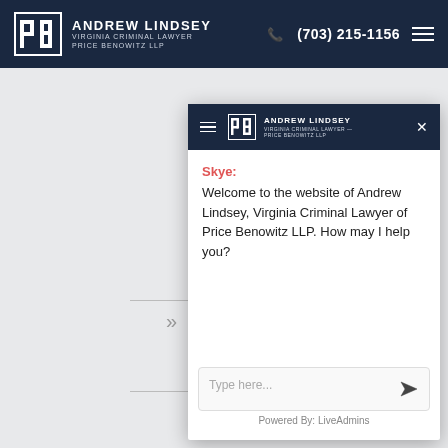[Figure (screenshot): Website screenshot of Andrew Lindsey Virginia Criminal Lawyer Price Benowitz LLP law firm. Shows a dark navy navigation bar at the top with the firm logo, name, phone number (703) 215-1156, and hamburger menu. Below is a gray page background with 'Violation' text partially visible. A chat widget overlay is open showing a modal with the firm's logo/branding in the header with hamburger menu and X close button. Inside the chat, 'Skye:' appears in red, followed by a welcome message. At the bottom of the chat is a text input box saying 'Type here...' with a send button, and 'Powered By: LiveAdmins' footer.]
Andrew Lindsey Virginia Criminal Lawyer Price Benowitz LLP | (703) 215-1156
Skye: Welcome to the website of Andrew Lindsey, Virginia Criminal Lawyer of Price Benowitz LLP. How may I help you?